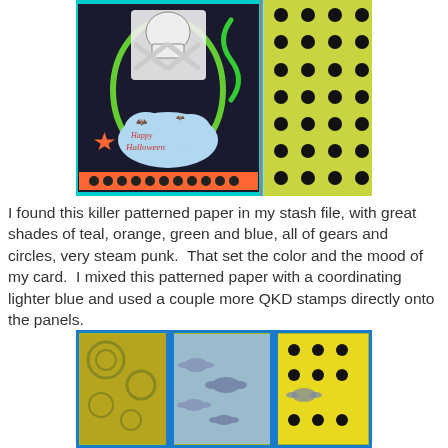[Figure (photo): A Halloween-themed greeting card with skull and crossbones, orange star, green swirl, Happy Halloween text in cloud, bats, and orange dotted border. On the right is a yellow-green fabric with black polka dots.]
I found this killer patterned paper in my stash file, with great shades of teal, orange, green and blue, all of gears and circles, very steam punk.  That set the color and the mood of my card.  I mixed this patterned paper with a coordinating lighter blue and used a couple more QKD stamps directly onto the panels.
[Figure (photo): A craft card with blue border showing panels: left panel has yellow-green pattern with gears/circles, center panel has light blue with purple bat stamps, right panel has yellow with black polka dots and more bat stamps.]